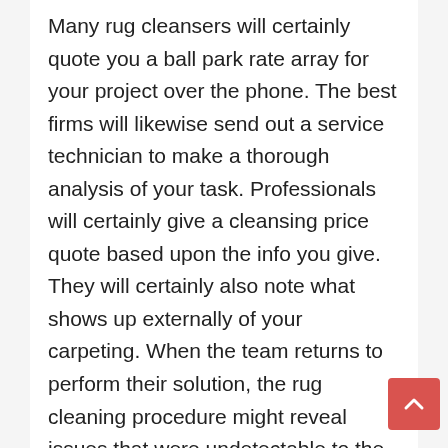Many rug cleansers will certainly quote you a ball park rate array for your project over the phone. The best firms will likewise send out a service technician to make a thorough analysis of your task. Professionals will certainly give a cleansing price quote based upon the info you give. They will certainly also note what shows up externally of your carpeting. When the team returns to perform their solution, the rug cleaning procedure might reveal issues that were undetectable to the estimator. In this situation, the team ought to have the ability to talk you with exactly what they have actually discovered and just how they propose to address the issue. Otherwise, the cleaners will wait their initial quote when the work is complete. In short, ask the firm to put their price